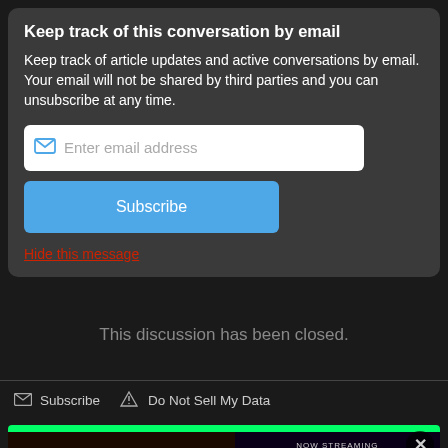Keep track of this conversation by email
Keep track of article updates and active conversations by email. Your email will not be shared by third parties and you can unsubscribe at any time.
[Figure (screenshot): Email input field with placeholder 'Enter email address' and envelope icon]
[Figure (screenshot): Blue Subscribe button]
Hide this message
This discussion has been closed.
Subscribe   Do Not Sell My Data
[Figure (screenshot): HBO House of the Dragon advertisement banner with green top bar and close button]